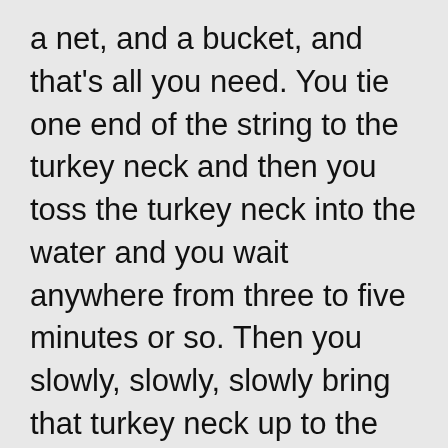a net, and a bucket, and that's all you need. You tie one end of the string to the turkey neck and then you toss the turkey neck into the water and you wait anywhere from three to five minutes or so. Then you slowly, slowly, slowly bring that turkey neck up to the surface. Now, I'd practiced